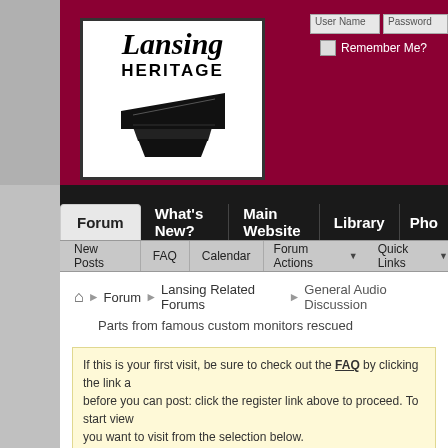[Figure (logo): Lansing Heritage logo with speaker icon in white box on dark red background]
User Name | Password | Remember Me?
Forum | What's New? | Main Website | Library | Pho...
New Posts | FAQ | Calendar | Forum Actions | Quick Links
Forum > Lansing Related Forums > General Audio Discussion
Parts from famous custom monitors rescued
If this is your first visit, be sure to check out the FAQ by clicking the link a... before you can post: click the register link above to proceed. To start view... you want to visit from the selection below.
Results 31 to 44 of 44
Thread: Parts from famous custom monitors rescued